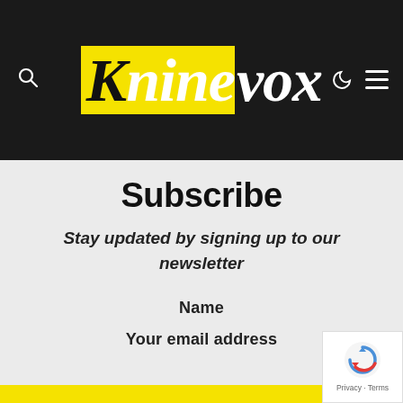Kninevox — navigation bar with search, logo, moon/dark-mode icon, and hamburger menu
Subscribe
Stay updated by signing up to our newsletter
Name
Your email address
[Figure (logo): reCAPTCHA badge with spinning arrow logo, Privacy and Terms text]